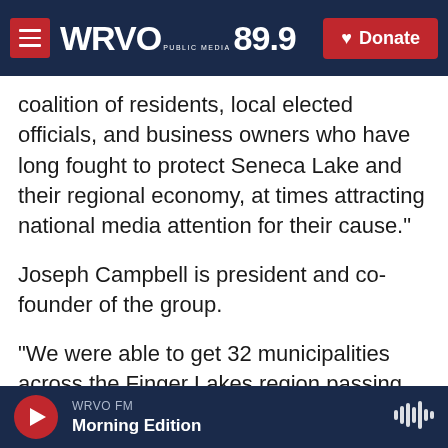WRVO PUBLIC MEDIA 89.9 | Donate
coalition of residents, local elected officials, and business owners who have long fought to protect Seneca Lake and their regional economy, at times attracting national media attention for their cause."
Joseph Campbell is president and co-founder of the group.
"We were able to get 32 municipalities across the Finger Lakes region passing resolutions opposing this project, representing 1.2 million New York residents; we have almost 500 businesses, and coalitions opposed to this project," Campbell said.
WRVO FM | Morning Edition